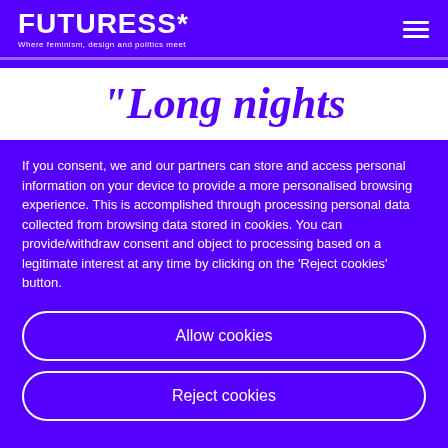FUTURESS* — Where feminism, design and politics meet
“Long nights
If you consent, we and our partners can store and access personal information on your device to provide a more personalised browsing experience. This is accomplished through processing personal data collected from browsing data stored in cookies. You can provide/withdraw consent and object to processing based on a legitimate interest at any time by clicking on the ‘Reject cookies’ button.
Allow cookies
Reject cookies